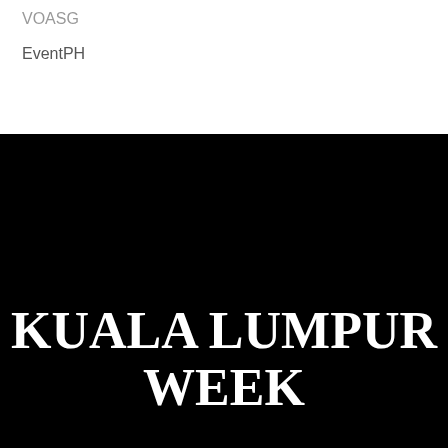VOASG
EventPH
KUALA LUMPUR WEEK
Berita Serantau Malaysia, Acara & Siaran Akhbar
Copyright © 2020 KLWeek.Com. All right reserved.